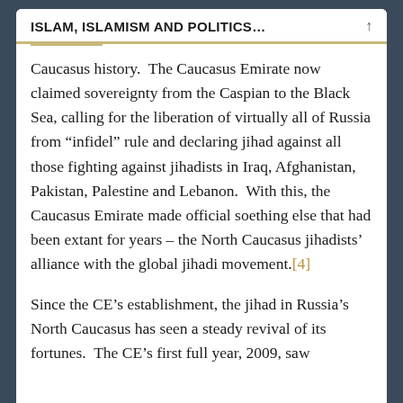ISLAM, ISLAMISM AND POLITICS...
Caucasus history.  The Caucasus Emirate now claimed sovereignty from the Caspian to the Black Sea, calling for the liberation of virtually all of Russia from “infidel” rule and declaring jihad against all those fighting against jihadists in Iraq, Afghanistan, Pakistan, Palestine and Lebanon.  With this, the Caucasus Emirate made official soething else that had been extant for years – the North Caucasus jihadists’ alliance with the global jihadi movement.[4]
Since the CE’s establishment, the jihad in Russia’s North Caucasus has seen a steady revival of its fortunes.  The CE’s first full year, 2009, saw